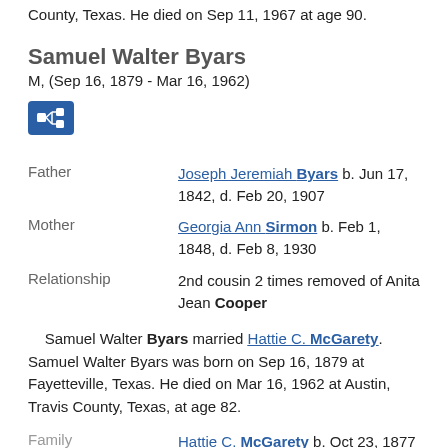County, Texas. He died on Sep 11, 1967 at age 90.
Samuel Walter Byars
M, (Sep 16, 1879 - Mar 16, 1962)
[Figure (other): Blue icon button with family tree / relationship symbol]
| Father | Joseph Jeremiah Byars b. Jun 17, 1842, d. Feb 20, 1907 |
| Mother | Georgia Ann Sirmon b. Feb 1, 1848, d. Feb 8, 1930 |
| Relationship | 2nd cousin 2 times removed of Anita Jean Cooper |
Samuel Walter Byars married Hattie C. McGarety. Samuel Walter Byars was born on Sep 16, 1879 at Fayetteville, Texas. He died on Mar 16, 1962 at Austin, Travis County, Texas, at age 82.
| Family | Hattie C. McGarety b. Oct 23, 1877 |
Lula Jane Byars